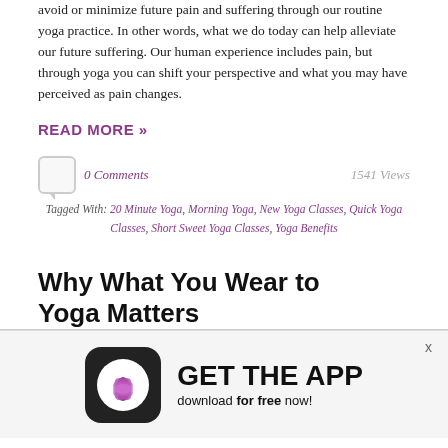avoid or minimize future pain and suffering through our routine yoga practice. In other words, what we do today can help alleviate our future suffering. Our human experience includes pain, but through yoga you can shift your perspective and what you may have perceived as pain changes.
READ MORE »
0 Comments    1541 Views
Tagged With: 20 Minute Yoga, Morning Yoga, New Yoga Classes, Quick Yoga Classes, Short Sweet Yoga Classes, Yoga Benefits
Why What You Wear to Yoga Matters
[Figure (infographic): App advertisement banner with lotus flower app icon on dark rounded square background, text 'GET THE APP' in large bold letters, 'download for free now!' below. X close button top right.]